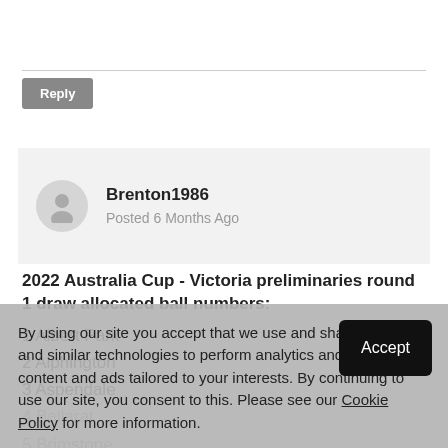[Figure (other): Reply button (gray button with white text 'Reply')]
Brenton1986
Posted 6 Months Ago
2022 Australia Cup - Victoria preliminaries round 1 draw allocated ball numbers:
1 Albert Park
2 Alphington
3 Aspendale
4 Ballarat
5 Brimstone
6 Barnstone North United
7 Bolton United
9 Balive
10 Bell Park
By using our site you accept that we use and share cookies and similar technologies to perform analytics and provide content and ads tailored to your interests. By continuing to use our site, you consent to this. Please see our Cookie Policy for more information.